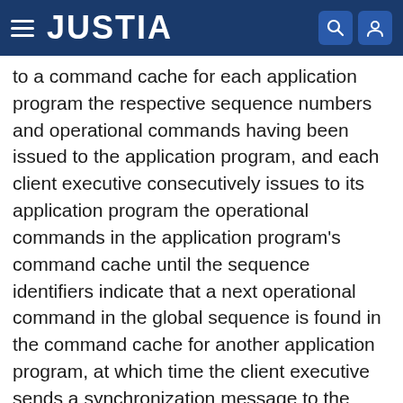JUSTIA
to a command cache for each application program the respective sequence numbers and operational commands having been issued to the application program, and each client executive consecutively issues to its application program the operational commands in the application program's command cache until the sequence identifiers indicate that a next operational command in the global sequence is found in the command cache for another application program, at which time the client executive sends a synchronization message to the client executive of the other application program. When the client executive of the other application program receives the synchronization message, it begins or resumes consecutive issuance of the operational commands in the other application program's command cache.